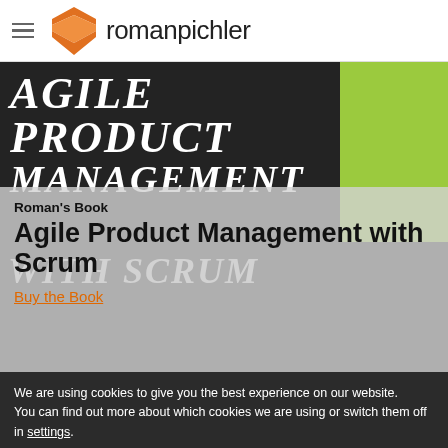romanpichler
[Figure (photo): Photo of the book 'Agile Product Management with Scrum' cover — dark/black background with large italic serif uppercase text. A green accent in the top right corner. A second book partially visible underneath.]
Roman's Book
Agile Product Management with Scrum
Buy the Book
We are using cookies to give you the best experience on our website.
You can find out more about which cookies we are using or switch them off in settings.
Accept